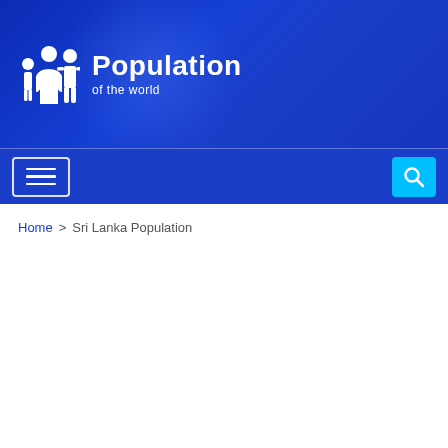[Figure (logo): Population of the world website header with person icons and blue gradient background]
Population of the world
Home > Sri Lanka Population